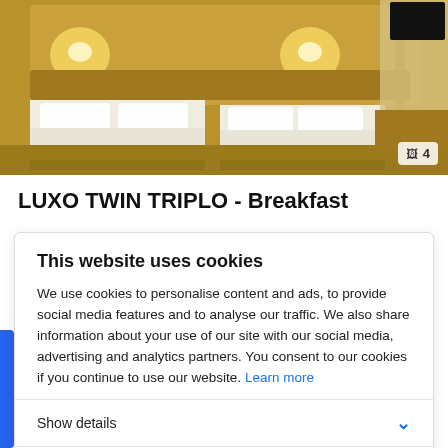[Figure (photo): Hotel room with twin beds, warm yellow lighting, white bedding, wooden wall panels, and curtained window. A photo counter badge showing '4' is visible in the bottom-right corner.]
LUXO TWIN TRIPLO - Breakfast
This website uses cookies
We use cookies to personalise content and ads, to provide social media features and to analyse our traffic. We also share information about your use of our site with our social media, advertising and analytics partners. You consent to our cookies if you continue to use our website. Learn more
Show details
Allow all cookies